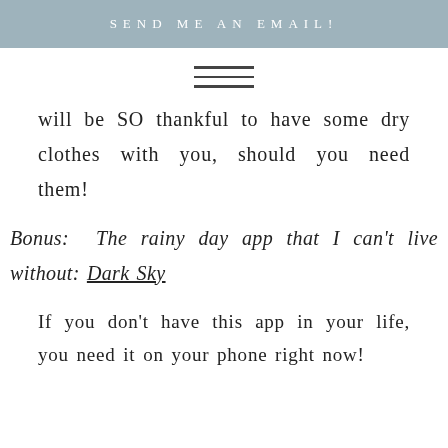SEND ME AN EMAIL!
[Figure (illustration): Hamburger menu icon with three horizontal parallel lines]
will be SO thankful to have some dry clothes with you, should you need them!
Bonus: The rainy day app that I can't live without: Dark Sky
If you don't have this app in your life, you need it on your phone right now!